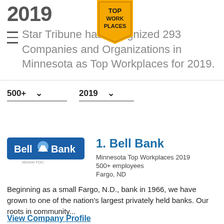2019
[Figure (logo): Top Work Places badge/award ribbon in gold/yellow color with text TOP WORK PLACES]
Star Tribune has recognized 293 Companies and Organizations in Minnesota as Top Workplaces for 2019.
500+  ∨    2019  ∨
[Figure (logo): Bell Bank logo — white text on blue rectangle with mountain/dome icon, tagline text below]
1. Bell Bank
Minnesota Top Workplaces 2019
500+ employees
Fargo, ND
Beginning as a small Fargo, N.D., bank in 1966, we have grown to one of the nation's largest privately held banks. Our roots in community...
View Company Profile